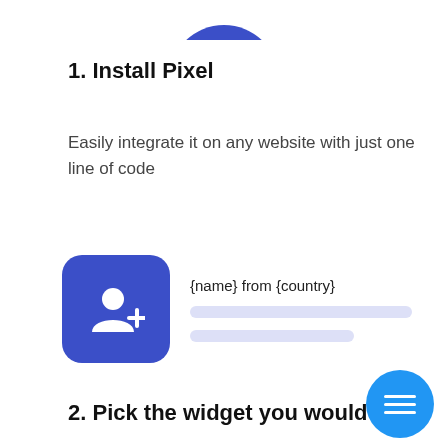[Figure (illustration): Partial blue circle/icon at top center, cropped at top edge of page]
1. Install Pixel
Easily integrate it on any website with just one line of code
[Figure (screenshot): Widget card showing a blue rounded square icon with a person/add user icon in white, next to placeholder text '{name} from {country}' and two grey placeholder bars]
2. Pick the widget you would lik